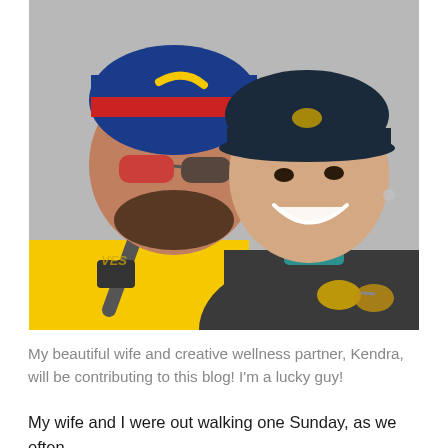[Figure (photo): Selfie of a man and a woman outdoors against a grey wall. The man on the left wears a yellow hoodie, sunglasses, and a blue/red/white Colorado flag beanie. A bag strap crosses his chest. The woman on the right wears a dark grey fleece jacket, a teal shirt, and a dark baseball cap with a yellow logo. Both are smiling broadly.]
My beautiful wife and creative wellness partner, Kendra, will be contributing to this blog! I'm a lucky guy!
My wife and I were out walking one Sunday, as we often